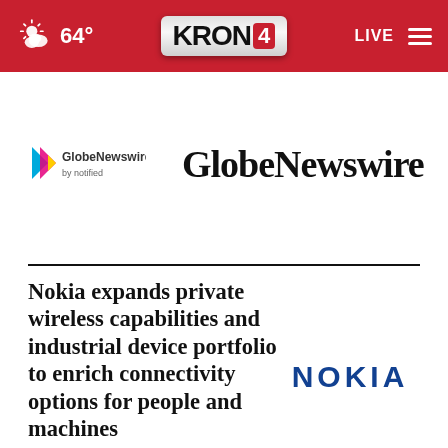64° KRON4 LIVE
[Figure (logo): GlobeNewswire by notified logo with colorful arrow icon and divider, followed by GlobeNewswire wordmark]
Nokia expands private wireless capabilities and industrial device portfolio to enrich connectivity options for people and machines
[Figure (logo): NOKIA wordmark in blue]